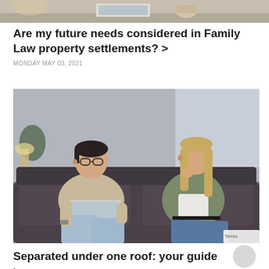[Figure (photo): Partial top photo showing a desk/workspace scene with coffee cup and laptop, cropped at the bottom of a prior article card]
Are my future needs considered in Family Law property settlements? >
MONDAY MAY 03, 2021
[Figure (photo): A man with glasses sitting on a dark sofa working on a laptop, and a woman sitting on the same sofa looking away thoughtfully with her hand on her chin]
Separated under one roof: your guide >